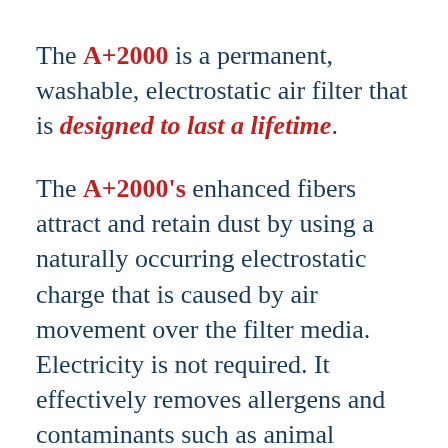The A+2000 is a permanent, washable, electrostatic air filter that is designed to last a lifetime.
The A+2000's enhanced fibers attract and retain dust by using a naturally occurring electrostatic charge that is caused by air movement over the filter media. Electricity is not required. It effectively removes allergens and contaminants such as animal dander, pollen, skin flakes, plant spores, dust, and more.